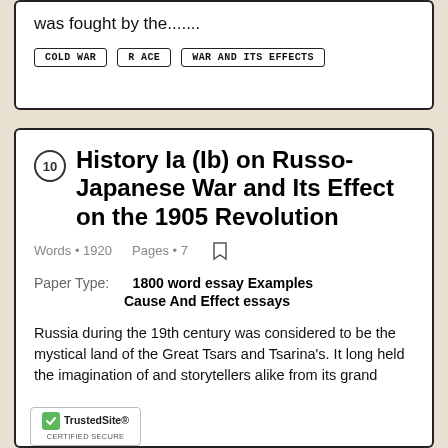was fought by the.......
COLD WAR
RACE
WAR AND ITS EFFECTS
History Ia (Ib) on Russo-Japanese War and Its Effect on the 1905 Revolution
Words • 1920    Pages • 7
Paper Type:    1800 word essay Examples
Cause And Effect essays
Russia during the 19th century was considered to be the mystical land of the Great Tsars and Tsarina's. It long held the imagination of and storytellers alike from its grand